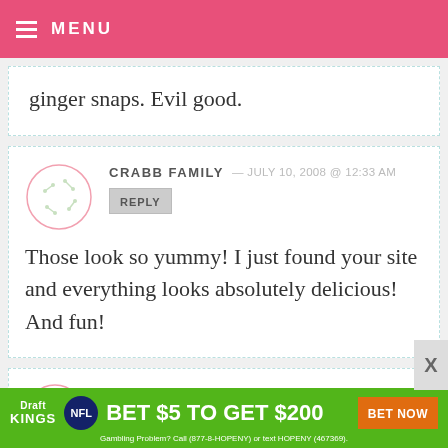MENU
ginger snaps. Evil good.
CRABB FAMILY — JULY 10, 2008 @ 12:33 AM
REPLY
Those look so yummy! I just found your site and everything looks absolutely delicious! And fun!
MELISSA LEWIS - OFF THE WALL —
[Figure (other): DraftKings NFL advertisement banner: BET $5 TO GET $200 BET NOW. Gambling Problem? Call (877-8-HOPENY) or text HOPENY (467369).]